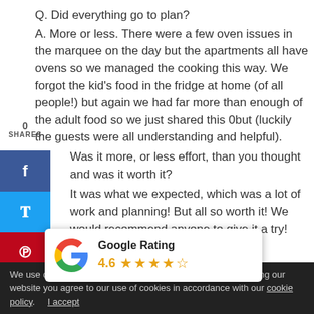Q. Did everything go to plan?
A. More or less. There were a few oven issues in the marquee on the day but the apartments all have ovens so we managed the cooking this way. We forgot the kid's food in the fridge at home (of all people!) but again we had far more than enough of the adult food so we just shared this but (luckily the guests were all understanding and helpful).
0
SHARES
Was it more, or less effort, than you thought and was it worth it?
It was what we expected, which was a lot of work and planning! But all so worth it! We would recommend anyone to give it a try!
Q. Would you do anything differently?
[Figure (logo): Google Rating popup showing 4.6 stars with Google G logo]
We use cookies to give you the best online experience. By using our website you agree to our use of cookies in accordance with our cookie policy.    I accept